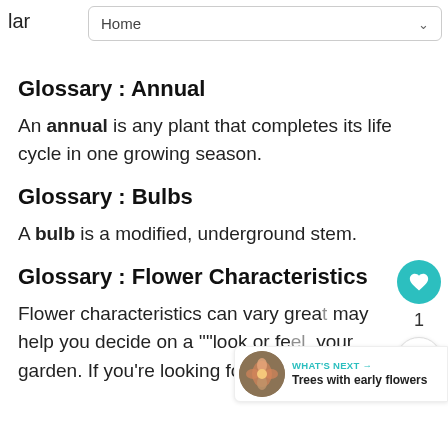lar   Home
Glossary : Annual
An annual is any plant that completes its life cycle in one growing season.
Glossary : Bulbs
A bulb is a modified, underground stem.
Glossary : Flower Characteristics
Flower characteristics can vary grea[t] may help you decide on a ""look or fe[el"" for] your garden. If you're looking for fragrance or